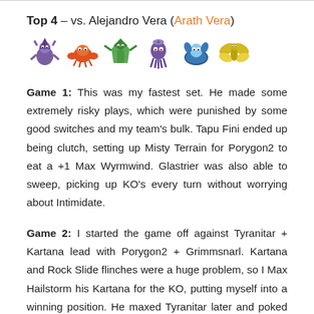Top 4 – vs. Alejandro Vera (Arath Vera)
[Figure (illustration): Six Pokemon sprites in a row: Grimmsnarl (witch-like), Volcarona (orange moth/crab), Kartana (green origami), Malamar (purple squid), Tapu Fini (sea creature), and another Pokemon (yellow bug-like)]
Game 1: This was my fastest set. He made some extremely risky plays, which were punished by some good switches and my team's bulk. Tapu Fini ended up being clutch, setting up Misty Terrain for Porygon2 to eat a +1 Max Wyrmwind. Glastrier was also able to sweep, picking up KO's every turn without worrying about Intimidate.
Game 2: I started the game off against Tyranitar + Kartana lead with Porygon2 + Grimmsnarl. Kartana and Rock Slide flinches were a huge problem, so I Max Hailstorm his Kartana for the KO, putting myself into a winning position. He maxed Tyranitar later and poked holes into the team. I was able to set up Trick Room for